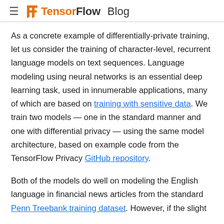TensorFlow Blog
As a concrete example of differentially-private training, let us consider the training of character-level, recurrent language models on text sequences. Language modeling using neural networks is an essential deep learning task, used in innumerable applications, many of which are based on training with sensitive data. We train two models — one in the standard manner and one with differential privacy — using the same model architecture, based on example code from the TensorFlow Privacy GitHub repository.
Both of the models do well on modeling the English language in financial news articles from the standard Penn Treebank training dataset. However, if the slight